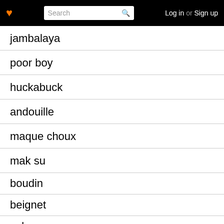Log in or Sign up
jambalaya
poor boy
huckabuck
andouille
maque choux
mak su
boudin
beignet
calas
praline